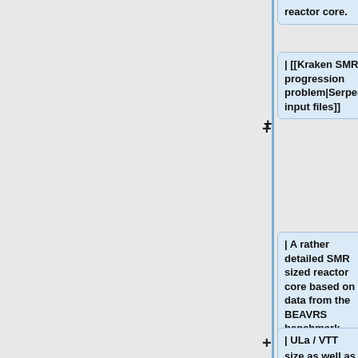reactor core.
| [[Kraken SMR progression problem|Serpent input files]]
| A rather detailed SMR sized reactor core based on data from the BEAVRS benchmark and a core size as well as radial reflector structure from the NuScale reactor concept.
| ULa / VTT